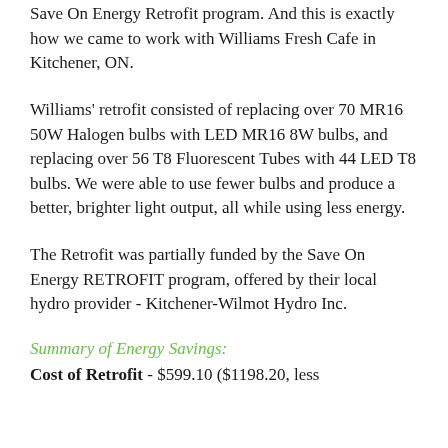Save On Energy Retrofit program.  And this is exactly how we came to work with Williams Fresh Cafe in Kitchener, ON.
Williams' retrofit consisted of replacing over 70 MR16 50W Halogen bulbs with LED MR16 8W bulbs, and replacing over 56 T8 Fluorescent Tubes with 44 LED T8 bulbs.  We were able to use fewer bulbs and produce a better, brighter light output, all while using less energy.
The Retrofit was partially funded by the Save On Energy RETROFIT program, offered by their local hydro provider - Kitchener-Wilmot Hydro Inc.
Summary of Energy Savings:
Cost of Retrofit - $599.10 ($1198.20, less